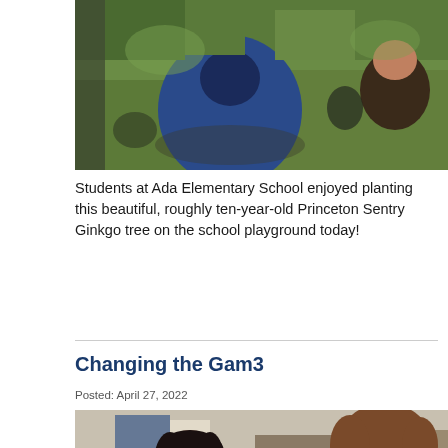[Figure (photo): Aerial/overhead view of students gathered outside on green grass, planting a tree. A person in a blue jacket is prominently visible from above.]
Students at Ada Elementary School enjoyed planting this beautiful, roughly ten-year-old Princeton Sentry Ginkgo tree on the school playground today!
Changing the Gam3
Posted: April 27, 2022
[Figure (photo): Indoor classroom scene showing students seated at a table. A young woman with dark hair is visible on the left, and another student with curly hair is on the right.]